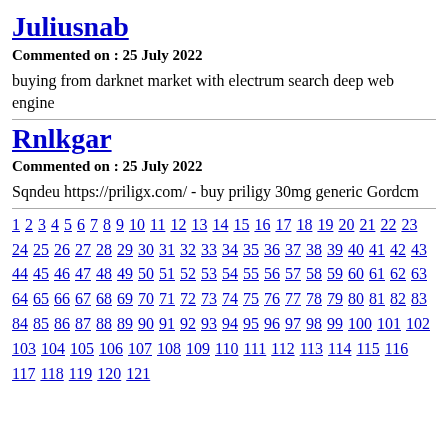Juliusnab
Commented on : 25 July 2022
buying from darknet market with electrum search deep web engine
Rnlkgar
Commented on : 25 July 2022
Sqndeu https://priligx.com/ - buy priligy 30mg generic Gordcm
1 2 3 4 5 6 7 8 9 10 11 12 13 14 15 16 17 18 19 20 21 22 23 24 25 26 27 28 29 30 31 32 33 34 35 36 37 38 39 40 41 42 43 44 45 46 47 48 49 50 51 52 53 54 55 56 57 58 59 60 61 62 63 64 65 66 67 68 69 70 71 72 73 74 75 76 77 78 79 80 81 82 83 84 85 86 87 88 89 90 91 92 93 94 95 96 97 98 99 100 101 102 103 104 105 106 107 108 109 110 111 112 113 114 115 116 117 118 119 120 121